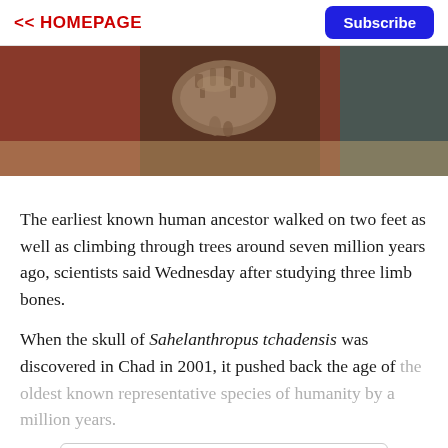<< HOMEPAGE  Subscribe
[Figure (photo): Close-up photograph of a fossil bone fragment, brownish-grey in color, on a blurred background with reddish and teal tones.]
The earliest known human ancestor walked on two feet as well as climbing through trees around seven million years ago, scientists said Wednesday after studying three limb bones.
When the skull of Sahelanthropus tchadensis was discovered in Chad in 2001, it pushed back the age of the oldest known representative species of humanity by a million years.
CONTINUE READING